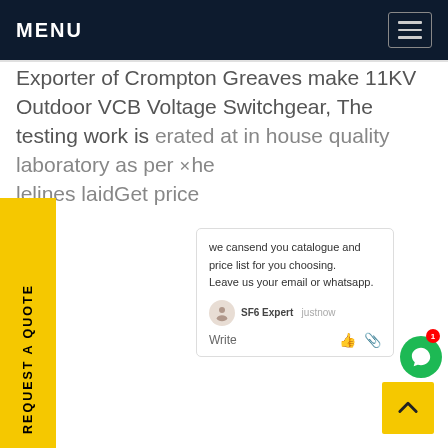MENU
Exporter of Crompton Greaves make 11KV Outdoor VCB Voltage Switchgear, The testing work is erated at in house quality laboratory as per the lelines laidGet price
REQUEST A QUOTE
we cansend you catalogue and price list for you choosing. Leave us your email or whatsapp.
SF6 Expert   justnow
Write
[Figure (screenshot): Back to top button - yellow square with upward chevron arrow]